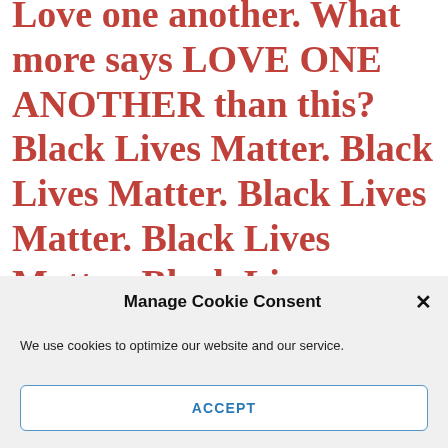Love one another. What more says LOVE ONE ANOTHER than this? Black Lives Matter. Black Lives Matter. Black Lives Matter. Black Lives Matter. Black Lives Matter. Black Lives Matter.
Manage Cookie Consent
We use cookies to optimize our website and our service.
ACCEPT